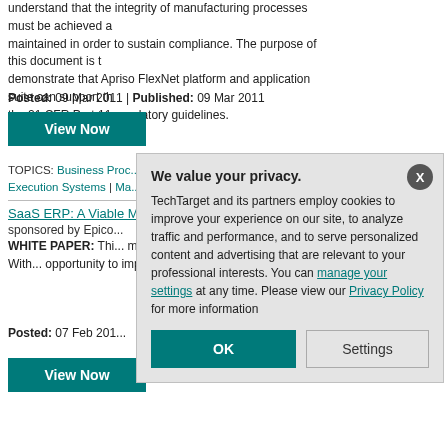understand that the integrity of manufacturing processes must be achieved and maintained in order to sustain compliance. The purpose of this document is to demonstrate that Apriso FlexNet platform and application suite can support the 21 CFR Part 11 regulatory guidelines.
Posted: 09 Mar 2011 | Published: 09 Mar 2011
[Figure (other): View Now button in teal]
TOPICS: Business Proc... | Analysis | Electronic Sig... | Execution Systems | Ma...
SaaS ERP: A Viable M...
sponsored by Epico...
WHITE PAPER: This... model delivers finan... manufacturers. With... opportunity to imple... business.
Posted: 07 Feb 201...
[Figure (other): View Now button in teal]
We value your privacy. TechTarget and its partners employ cookies to improve your experience on our site, to analyze traffic and performance, and to serve personalized content and advertising that are relevant to your professional interests. You can manage your settings at any time. Please view our Privacy Policy for more information
[Figure (other): OK button and Settings button in privacy dialog]